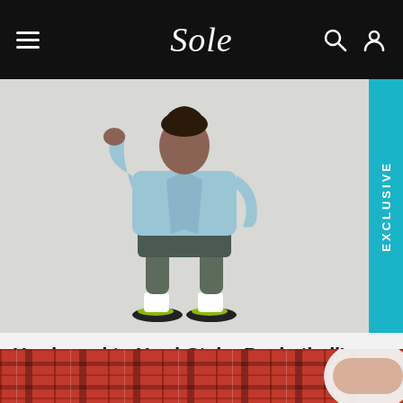Sole
[Figure (photo): Man wearing a light blue denim jacket, dark shorts, white socks, and green/black sneakers, standing against a light grey background. An 'EXCLUSIVE' label tab appears on the right side of the image in teal.]
Hardwood to Hard-Style: Basketball's Best Dressed Players
14 hours ago · Jack Strong
[Figure (photo): Close-up of a red and black plaid/tartan fabric pattern with a person's hands/arms visible on the right side.]